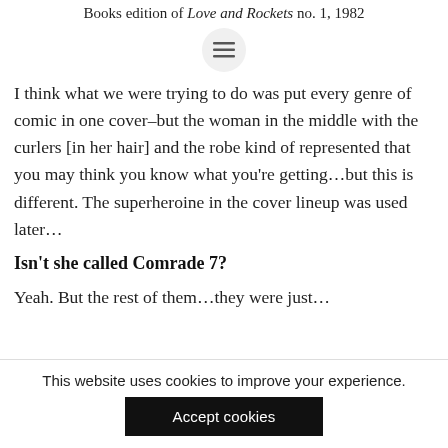Books edition of Love and Rockets no. 1, 1982
[Figure (other): Hamburger menu icon button (three horizontal lines) in a circular gray button]
I think what we were trying to do was put every genre of comic in one cover–but the woman in the middle with the curlers [in her hair] and the robe kind of represented that you may think you know what you're getting…but this is different. The superheroine in the cover lineup was used later…
Isn't she called Comrade 7?
Yeah. But the rest of them…they were just…
This website uses cookies to improve your experience.
Accept cookies